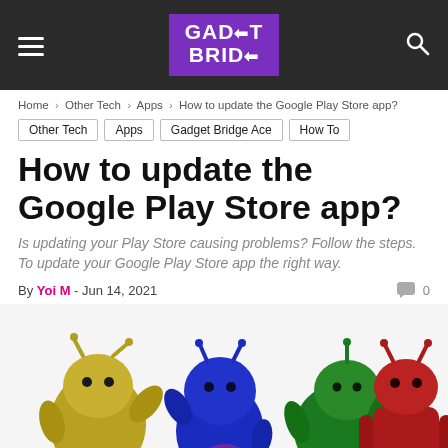GADGET BRIDGE
Home › Other Tech › Apps › How to update the Google Play Store app?
Other Tech
Apps
Gadget Bridge Ace
How To
How to update the Google Play Store app?
Is updating your Play Store causing problems? Follow the steps. To update your Google Play Store app the right way.
By Yoi M - Jun 14, 2021   0
[Figure (photo): Four colorful 3D Android robot figurines (yellow, blue, green, red) and partial fifth purple/white figure at bottom, on white background]